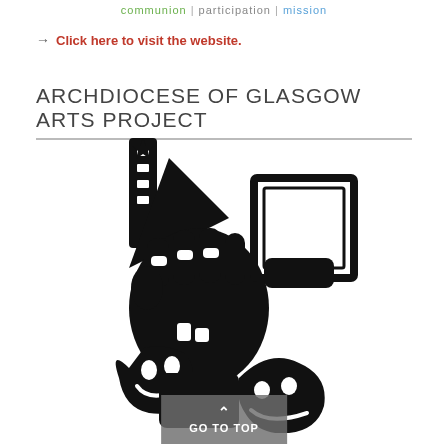communion | participation | mission
→ Click here to visit the website.
ARCHDIOCESE OF GLASGOW ARTS PROJECT
[Figure (illustration): Black and white illustration of a raised fist holding artistic tools including what appears to be a paintbrush/guitar neck, a theatrical mask or frame, and theater comedy/tragedy masks at the bottom. The image is a stylized arts-themed graphic logo.]
GO TO TOP